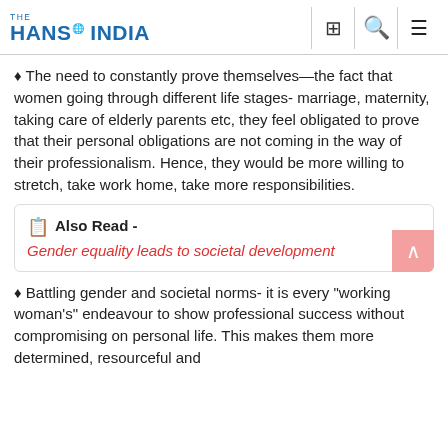THE HANS INDIA
The need to constantly prove themselves—the fact that women going through different life stages- marriage, maternity, taking care of elderly parents etc, they feel obligated to prove that their personal obligations are not coming in the way of their professionalism. Hence, they would be more willing to stretch, take work home, take more responsibilities.
Also Read - Gender equality leads to societal development
Battling gender and societal norms- it is every "working woman's" endeavour to show professional success without compromising on personal life. This makes them more determined, resourceful and